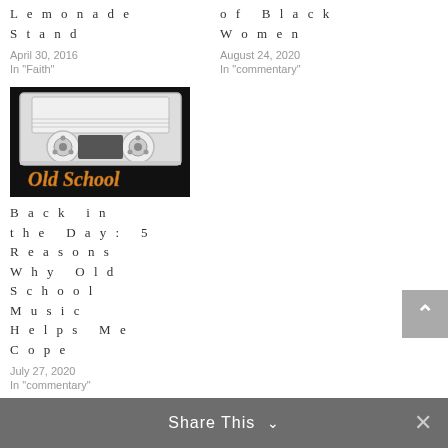Lemonade Stand
April 30, 2016
In "Faith"
of Black Women
August 24, 2020
In "commentary"
[Figure (photo): Cassette tape with 'Old School' text on dark background]
Back in the Day: 5 Reasons Why Old School Music Helps Me Cope
July 27, 2020
In "commentary"
Share This ∨  ×